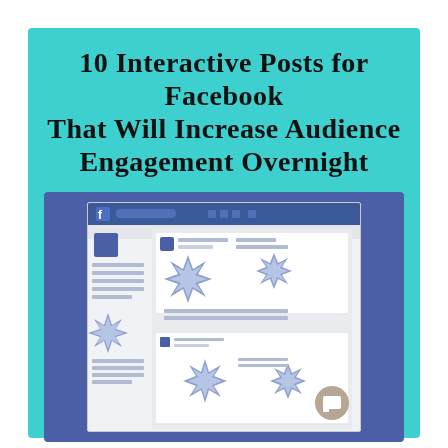10 Interactive Posts for Facebook That Will Increase Audience Engagement Overnight
[Figure (illustration): A stylized illustration of a Facebook page interface showing the Facebook logo bar at top, profile picture area, cover photo area, news feed posts with starburst-shaped image placeholders, text line placeholders, and sidebar content, all rendered in shades of blue and white, set against a blue-purple background.]